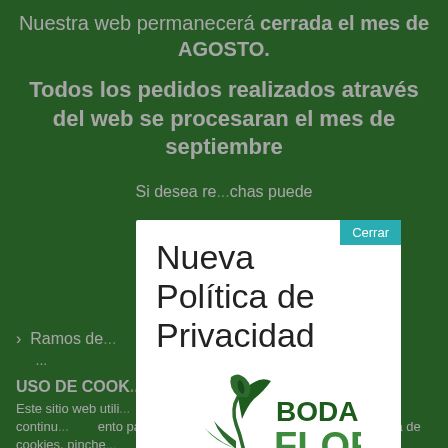Nuestra web permanecerá cerrada el mes de AGOSTO.
Todos los pedidos realizados através del web se procesaran el mes de septiembre
Si desea re...chas puede llamarn...de 9-13h
......
> Ramos de...
USO DE COOK...
Este sitio web utili... or experiencia de usuario. Si continu...ento para la aceptación de las...e nuestra política de cookies, pinche...
Nueva Política de Privacidad
[Figure (logo): BodaFlor logo with dark green flower/calla lily icon and BODA FLOR text in green]
Como posiblemente ya habrás notado en los últimos días por la cantidad de correos y notificaciones que se han enviado, el 25 de mayo